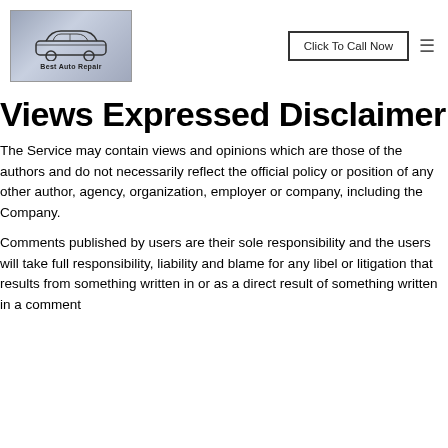[Figure (logo): Best Auto Repair logo with car outline graphic on blue-grey background]
Views Expressed Disclaimer
The Service may contain views and opinions which are those of the authors and do not necessarily reflect the official policy or position of any other author, agency, organization, employer or company, including the Company.
Comments published by users are their sole responsibility and the users will take full responsibility, liability and blame for any libel or litigation that results from something written in or as a direct result of something written in a comment